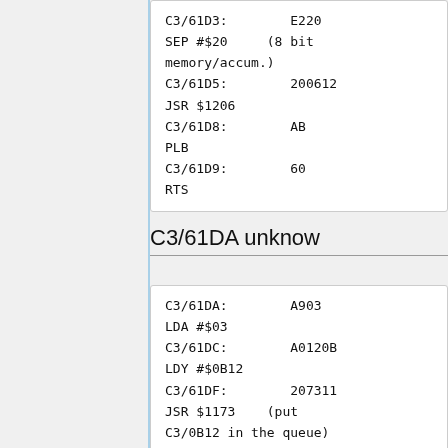C3/61D3: E220
SEP #$20 (8 bit memory/accum.)
C3/61D5: 200612
JSR $1206
C3/61D8: AB
PLB
C3/61D9: 60
RTS
C3/61DA unknow
C3/61DA: A903
LDA #$03
C3/61DC: A0120B
LDY #$0B12
C3/61DF: 207311
JSR $1173 (put C3/0B12 in the queue)
C3/61E2: 8A
TXA
C3/61E3: 8560
STA $60